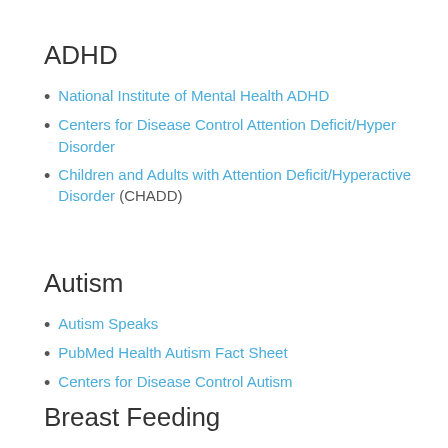ADHD
National Institute of Mental Health ADHD
Centers for Disease Control Attention Deficit/Hyper Disorder
Children and Adults with Attention Deficit/Hyperactive Disorder (CHADD)
Autism
Autism Speaks
PubMed Health Autism Fact Sheet
Centers for Disease Control Autism
Breast Feeding